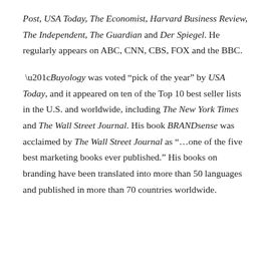Post, USA Today, The Economist, Harvard Business Review, The Independent, The Guardian and Der Spiegel. He regularly appears on ABC, CNN, CBS, FOX and the BBC.
“Buyology was voted “pick of the year” by USA Today, and it appeared on ten of the Top 10 best seller lists in the U.S. and worldwide, including The New York Times and The Wall Street Journal. His book BRANDsense was acclaimed by The Wall Street Journal as “…one of the five best marketing books ever published.” His books on branding have been translated into more than 50 languages and published in more than 70 countries worldwide.